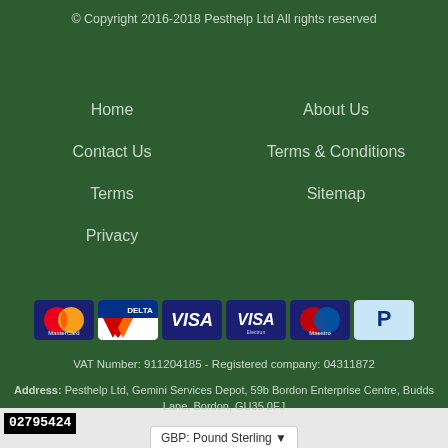© Copyright 2016-2018 Pesthelp Ltd All rights reserved
Home
About Us
Contact Us
Terms & Conditions
Terms
Sitemap
Privacy
[Figure (logo): Payment method icons: MasterCard, Delta, Visa, Visa Electron, Maestro, PayPal]
VAT Number: 911204185 - Registered company: 04311872
Address: Pesthelp Ltd, Gemini Services Depot, 59b Bordon Enterprise Centre, Budds Lane, Bordon, GU35 0FJ
GBP: Pound Sterling ▾
02795424